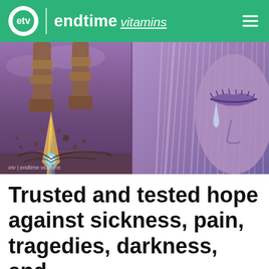endtime vitamins
[Figure (photo): Hero banner image: Left side shows a giant metallic armored statue/figure stomping or crashing down with a bright energy beam/explosion hitting the ground in a desert landscape with purple-tinted sky. Right side shows a close-up of a woman's face with closed eyes and a tear running down her cheek, in purple/violet tones.]
Trusted and tested hope against sickness, pain, tragedies, darkness, and